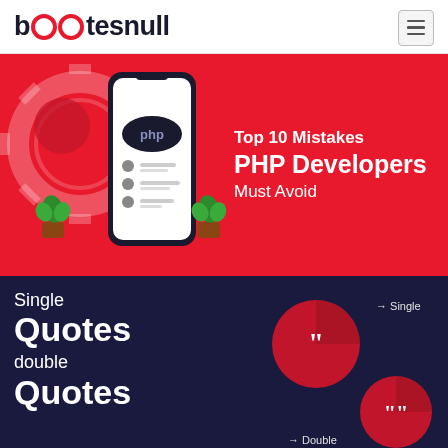bootesnull
[Figure (infographic): Red banner with PHP smartphone illustration, gear icon, plant decorations, and text 'Top 10 Mistakes PHP Developers Must Avoid']
[Figure (infographic): Dark navy banner showing 'Single Quotes double Quotes' text on left, with quote mark circle icons on right labeled Single and Double]